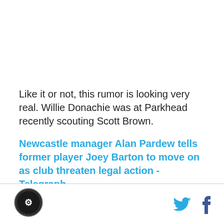Like it or not, this rumor is looking very real. Willie Donachie was at Parkhead recently scouting Scott Brown.
Newcastle manager Alan Pardew tells former player Joey Barton to move on as club threaten legal action - Telegraph
[Figure (logo): Circular black and white club/publication logo]
[Figure (other): Twitter bird icon and Facebook f icon as social share buttons]